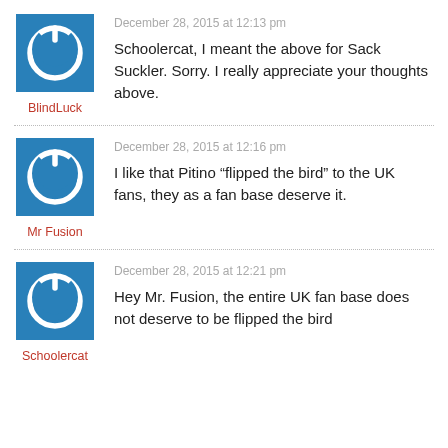[Figure (illustration): Blue square avatar icon with white power button symbol]
BlindLuck
December 28, 2015 at 12:13 pm
Schoolercat, I meant the above for Sack Suckler. Sorry. I really appreciate your thoughts above.
[Figure (illustration): Blue square avatar icon with white power button symbol]
Mr Fusion
December 28, 2015 at 12:16 pm
I like that Pitino “flipped the bird” to the UK fans, they as a fan base deserve it.
[Figure (illustration): Blue square avatar icon with white power button symbol]
Schoolercat
December 28, 2015 at 12:21 pm
Hey Mr. Fusion, the entire UK fan base does not deserve to be flipped the bird